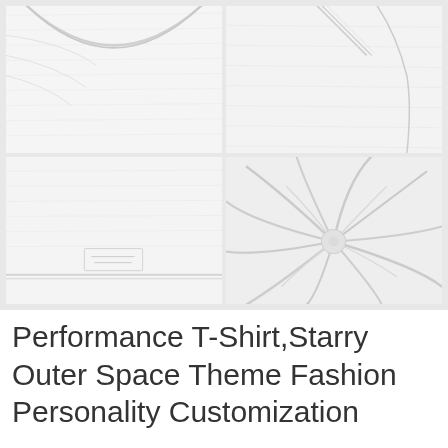[Figure (photo): Four-panel photo collage showing close-up details of a white cotton t-shirt: top-left shows the round neckline, top-right shows the shoulder/neckline area, bottom-left shows the hem and tag area, bottom-right shows twisted/bunched white fabric texture]
Performance T-Shirt,Starry Outer Space Theme Fashion Personality Customization